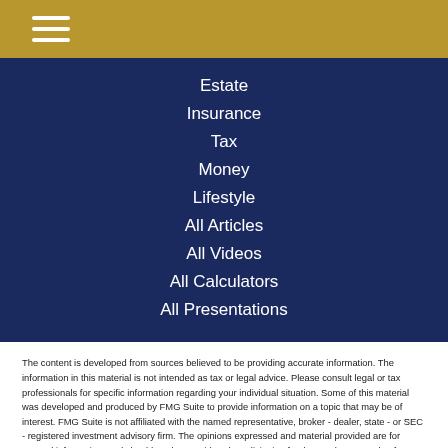Navigation menu header bar with hamburger icon
Estate
Insurance
Tax
Money
Lifestyle
All Articles
All Videos
All Calculators
All Presentations
The content is developed from sources believed to be providing accurate information. The information in this material is not intended as tax or legal advice. Please consult legal or tax professionals for specific information regarding your individual situation. Some of this material was developed and produced by FMG Suite to provide information on a topic that may be of interest. FMG Suite is not affiliated with the named representative, broker - dealer, state - or SEC - registered investment advisory firm. The opinions expressed and material provided are for general information, and should not be considered a solicitation for the purchase or sale of any security.
We take protecting your data and privacy very seriously. As of January 1, 2020 the